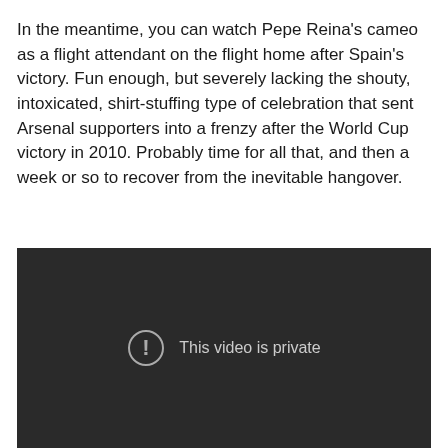In the meantime, you can watch Pepe Reina's cameo as a flight attendant on the flight home after Spain's victory. Fun enough, but severely lacking the shouty, intoxicated, shirt-stuffing type of celebration that sent Arsenal supporters into a frenzy after the World Cup victory in 2010. Probably time for all that, and then a week or so to recover from the inevitable hangover.
[Figure (screenshot): Embedded video player with dark background showing 'This video is private' message with an exclamation mark icon in a circle.]